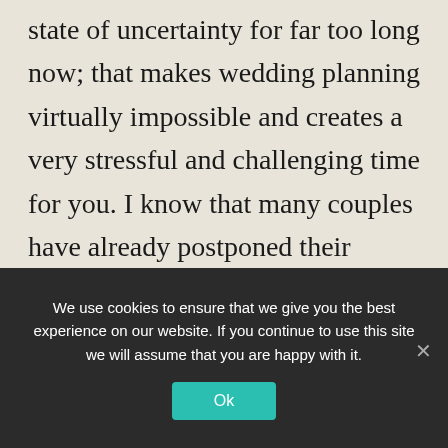state of uncertainty for far too long now; that makes wedding planning virtually impossible and creates a very stressful and challenging time for you. I know that many couples have already postponed their weddings at least once and some multiple times. Although you desperately wish to be married this year, you are understandably nervous and therefore reluctant to start your wedding planning again. This blog aims to give you tips and ideas on how
We use cookies to ensure that we give you the best experience on our website. If you continue to use this site we will assume that you are happy with it.